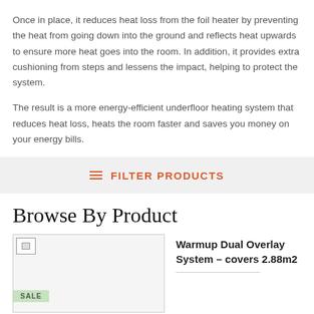Once in place, it reduces heat loss from the foil heater by preventing the heat from going down into the ground and reflects heat upwards to ensure more heat goes into the room. In addition, it provides extra cushioning from steps and lessens the impact, helping to protect the system.
The result is a more energy-efficient underfloor heating system that reduces heat loss, heats the room faster and saves you money on your energy bills.
FILTER PRODUCTS
Browse By Product
[Figure (photo): Product image placeholder with SALE badge]
Warmup Dual Overlay System – covers 2.88m2